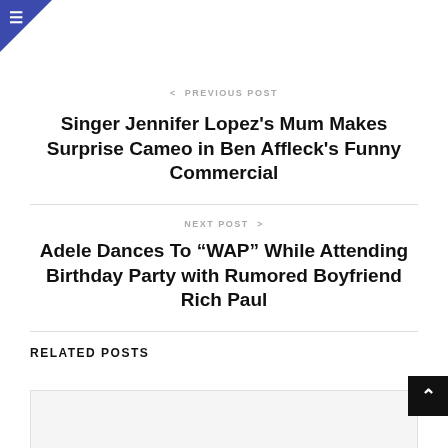[Figure (other): Hamburger menu icon in blue triangle at top-left corner]
< PREVIOUS POST
Singer Jennifer Lopez’s Mum Makes Surprise Cameo in Ben Affleck’s Funny Commercial
NEXT POST >
Adele Dances To “WAP” While Attending Birthday Party with Rumored Boyfriend Rich Paul
RELATED POSTS
[Figure (other): Related post image placeholder (light gray box)]